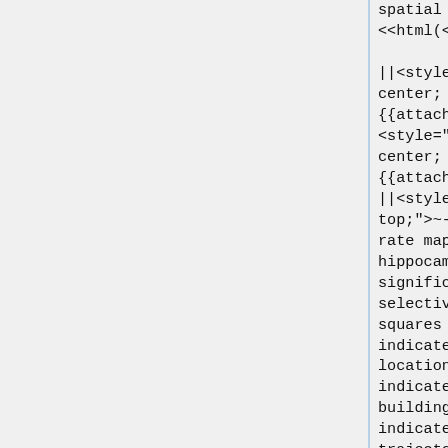spatial navigation.--||<<html(</div>)>>

||<style="text-align: center; width: 50%;">{{attachment:place_cells2a.jpg}<style="text-align: center; width: 50%;">{{attachment:place_cells2b.jpg||<style="vertical-align: top;">~--Fig. 4: Firing-rate map of a right hippocampal cell showing significant place selectivity. Lettered squares (SA,SB,SC) indicate target store locations, white boxes indicate non-target buildings, red lines indicate the subject's trajectory, and the red square indicates regions of significantly high firing rate (all examples,